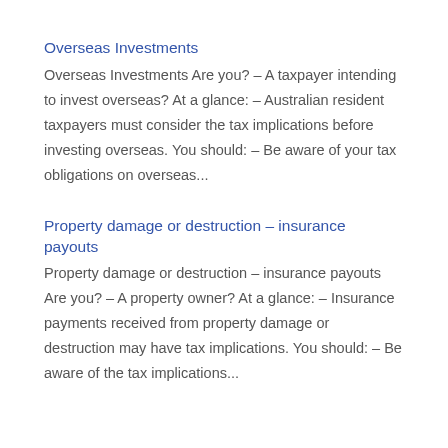Overseas Investments
Overseas Investments Are you? – A taxpayer intending to invest overseas? At a glance: – Australian resident taxpayers must consider the tax implications before investing overseas. You should: – Be aware of your tax obligations on overseas...
Property damage or destruction – insurance payouts
Property damage or destruction – insurance payouts Are you? – A property owner? At a glance: – Insurance payments received from property damage or destruction may have tax implications. You should: – Be aware of the tax implications...